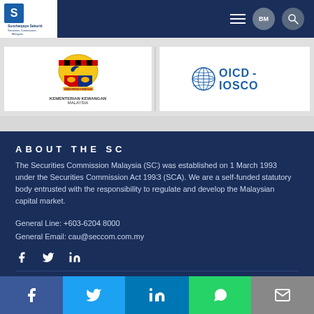Suruhanjaya Sekuriti Securities Commission Malaysia — BM
[Figure (logo): Kementerian Kewangan Malaysia coat of arms logo]
[Figure (logo): OICD-IOSCO globe logo]
ABOUT THE SC
The Securities Commission Malaysia (SC) was established on 1 March 1993 under the Securities Commission Act 1993 (SCA). We are a self-funded statutory body entrusted with the responsibility to regulate and develop the Malaysian capital market.
General Line: +603-6204 8000
General Email: cau@seccom.com.my
© Copyright Securities Commission Malaysia.  Contact Us  |  Disclaimer  |  The site is best viewed using Microsoft Edge and Google Chrome with
[Figure (other): Social media share bar: Facebook, Twitter, LinkedIn, WhatsApp, Email]